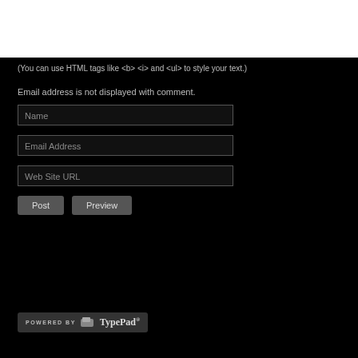[Figure (screenshot): White content area (top portion of a web form, cropped)]
(You can use HTML tags like <b> <i> and <ul> to style your text.)
Email address is not displayed with comment.
Name
Email Address
Web Site URL
Post   Preview
[Figure (logo): Powered by TypePad logo badge]